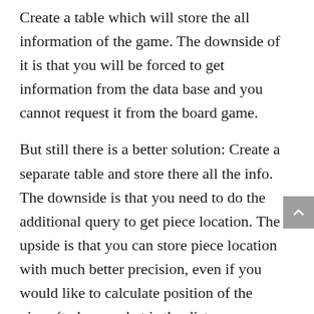Create a table which will store the all information of the game. The downside of it is that you will be forced to get information from the data base and you cannot request it from the board game.
But still there is a better solution: Create a separate table and store there all the info. The downside is that you need to do the additional query to get piece location. The upside is that you can store piece location with much better precision, even if you would like to calculate position of the piece (to know what is the distance between two